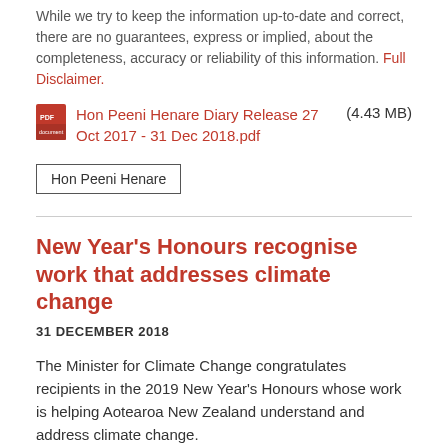While we try to keep the information up-to-date and correct, there are no guarantees, express or implied, about the completeness, accuracy or reliability of this information. Full Disclaimer.
Hon Peeni Henare Diary Release 27 Oct 2017 - 31 Dec 2018.pdf (4.43 MB)
Hon Peeni Henare
New Year's Honours recognise work that addresses climate change
31 DECEMBER 2018
The Minister for Climate Change congratulates recipients in the 2019 New Year's Honours whose work is helping Aotearoa New Zealand understand and address climate change.
Hon James Shaw
climate change